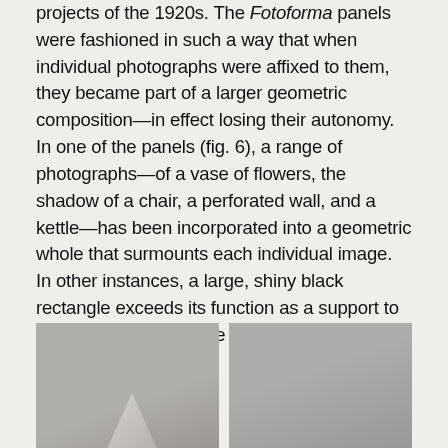projects of the 1920s. The Fotoforma panels were fashioned in such a way that when individual photographs were affixed to them, they became part of a larger geometric composition—in effect losing their autonomy. In one of the panels (fig. 6), a range of photographs—of a vase of flowers, the shadow of a chair, a perforated wall, and a kettle—has been incorporated into a geometric whole that surmounts each individual image. In other instances, a large, shiny black rectangle exceeds its function as a support to the photographic image (fig. 7), in fact becoming integral to it.
[Figure (photo): Left photograph: black and white image, appears to show a geometric or sculptural form, partially visible, grey tones]
[Figure (photo): Right photograph: black and white image, lighter tones, appears to show a panel or flat surface]